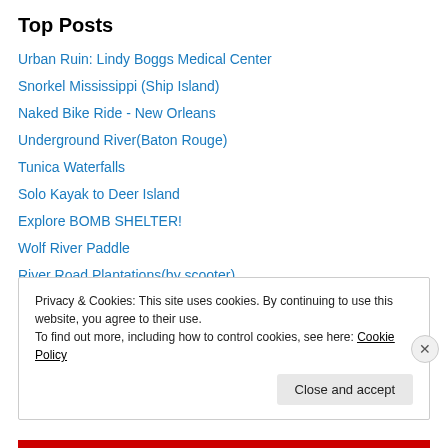Top Posts
Urban Ruin: Lindy Boggs Medical Center
Snorkel Mississippi (Ship Island)
Naked Bike Ride - New Orleans
Underground River(Baton Rouge)
Tunica Waterfalls
Solo Kayak to Deer Island
Explore BOMB SHELTER!
Wolf River Paddle
River Road Plantations(by scooter)
Biking the Tammany Trace
Privacy & Cookies: This site uses cookies. By continuing to use this website, you agree to their use. To find out more, including how to control cookies, see here: Cookie Policy